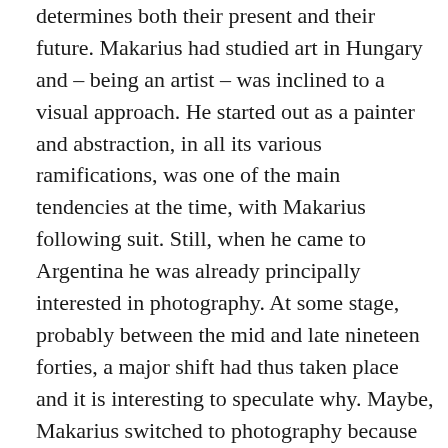determines both their present and their future. Makarius had studied art in Hungary and – being an artist – was inclined to a visual approach. He started out as a painter and abstraction, in all its various ramifications, was one of the main tendencies at the time, with Makarius following suit. Still, when he came to Argentina he was already principally interested in photography. At some stage, probably between the mid and late nineteen forties, a major shift had thus taken place and it is interesting to speculate why. Maybe, Makarius switched to photography because of practical reasons. Cameras were not only widely available at the time, but also coincided perfectly with his wandering life after the end of the war. Before moving to Argentina, he visited and lived in many countries, for example France and Switzerland. And, last but not least, because of his artistic background, he